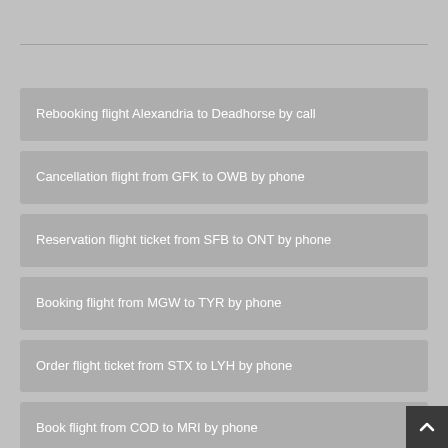Rebooking flight Alexandria to Deadhorse by call
Cancellation flight from GFK to OWB by phone
Reservation flight ticket from SFB to ONT by phone
Booking flight from MGW to TYR by phone
Order flight ticket from STX to LYH by phone
Book flight from COD to MRI by phone